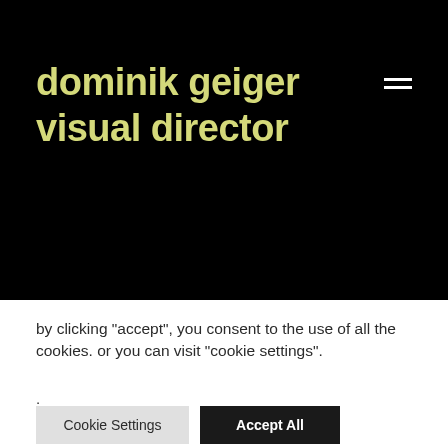dominik geiger visual director
by clicking “accept”, you consent to the use of all the cookies. or you can visit “cookie settings”.
.
Cookie Settings
Accept All